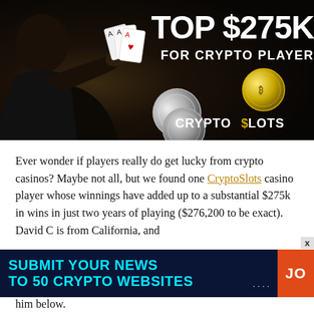[Figure (photo): Advertising banner for CryptoSlots casino showing a person holding playing cards on the left, coins in the center, and text 'TOP $275K FOR CRYPTO PLAYER' with the CryptoSlots logo on a dark background.]
Ever wonder if players really do get lucky from crypto casinos? Maybe not all, but we found one CryptoSlots casino player whose winnings have added up to a substantial $275k in wins in just two years of playing ($276,200 to be exact). David C is from California, and
[Figure (infographic): Blue advertisement banner overlay reading 'SUBMIT YOUR NEWS TO 50 CRYPTO WEBSITES' in cyan bold text on dark blue background, with an orange 'JO' button on the right and an X close button.]
him below.